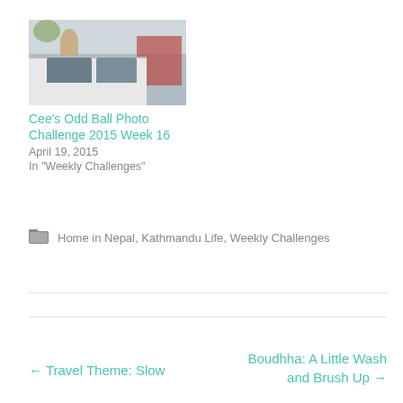[Figure (photo): Photograph showing a white car with windows visible, a person or animal figure in background, red building, and trees in an outdoor urban Nepal setting]
Cee's Odd Ball Photo Challenge 2015 Week 16
April 19, 2015
In "Weekly Challenges"
Home in Nepal, Kathmandu Life, Weekly Challenges
← Travel Theme: Slow
Boudhha: A Little Wash and Brush Up →